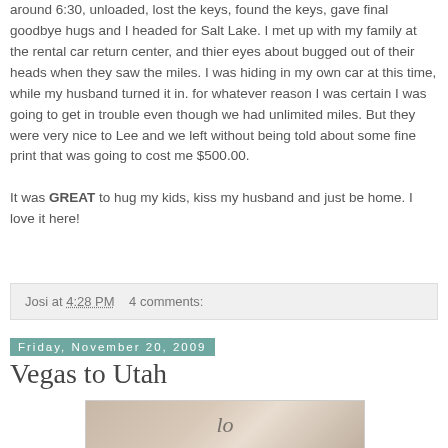around 6:30, unloaded, lost the keys, found the keys, gave final goodbye hugs and I headed for Salt Lake. I met up with my family at the rental car return center, and thier eyes about bugged out of their heads when they saw the miles. I was hiding in my own car at this time, while my husband turned it in. for whatever reason I was certain I was going to get in trouble even though we had unlimited miles. But they were very nice to Lee and we left without being told about some fine print that was going to cost me $500.00.

It was GREAT to hug my kids, kiss my husband and just be home. I love it here!
Josi at 4:28 PM    4 comments:
Friday, November 20, 2009
Vegas to Utah
[Figure (photo): A photo showing what appears to be a sign or banner, partially visible at the bottom of the page.]